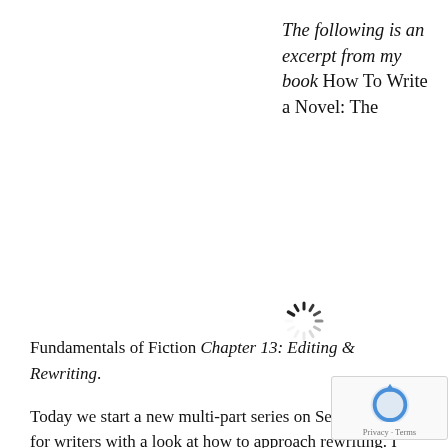The following is an excerpt from my book How To Write a Novel: The
[Figure (other): Loading spinner icon (circular dashed spinner graphic)]
Fundamentals of Fiction Chapter 13: Editing & Rewriting.

Today we start a new multi-part series on Self-E... for writers with a look at how to approach rewrit... am a firm believer that rewriting is where the magic